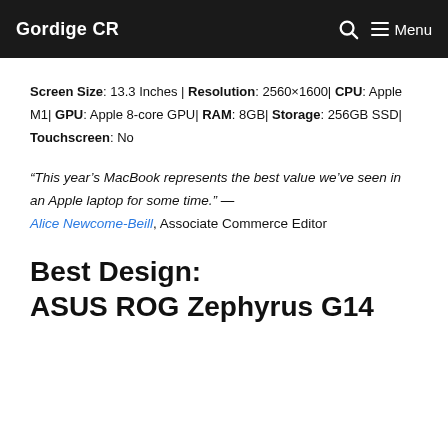Gordige CR  Menu
Screen Size: 13.3 Inches | Resolution: 2560×1600| CPU: Apple M1| GPU: Apple 8-core GPU| RAM: 8GB| Storage: 256GB SSD| Touchscreen: No
“This year’s MacBook represents the best value we’ve seen in an Apple laptop for some time.” — Alice Newcome-Beill, Associate Commerce Editor
Best Design: ASUS ROG Zephyrus G14